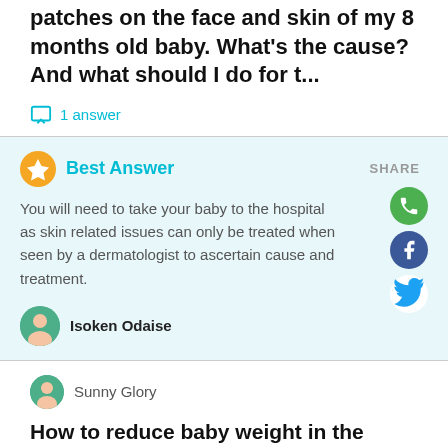patches on the face and skin of my 8 months old baby. What's the cause? And what should I do for t...
1 answer
Best Answer
You will need to take your baby to the hospital as skin related issues can only be treated when seen by a dermatologist to ascertain cause and treatment.
Isoken Odaise
Sunny Glory
How to reduce baby weight in the womb
Good morning all. Please can Lipton tea mixed with a little milk